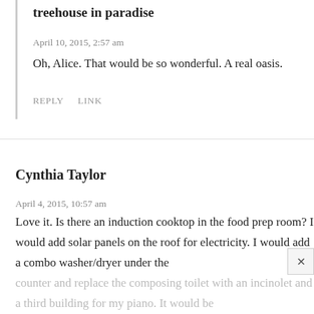treehouse in paradise
April 10, 2015, 2:57 am
Oh, Alice. That would be so wonderful. A real oasis.
REPLY    LINK
Cynthia Taylor
April 4, 2015, 10:57 am
Love it. Is there an induction cooktop in the food prep room? I would add solar panels on the roof for electricity. I would add a combo washer/dryer under the counter and replace the composing toilet with an incinolet and a third building for my piano. It would be